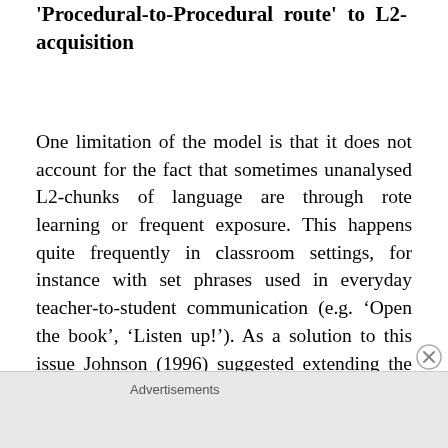'Procedural-to-Procedural route' to L2-acquisition
One limitation of the model is that it does not account for the fact that sometimes unanalysed L2-chunks of language are through rote learning or frequent exposure. This happens quite frequently in classroom settings, for instance with set phrases used in everyday teacher-to-student communication (e.g. ‘Open the book’, ‘Listen up!’). As a solution to this issue Johnson (1996) suggested extending the model by allowing for the existence of a
Advertisements